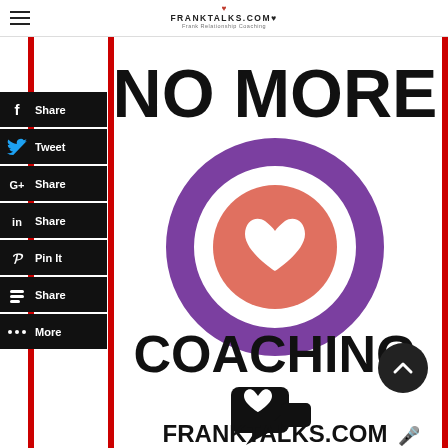FRANKTALKS.COM
[Figure (logo): Social sharing sidebar with buttons: Share (Facebook), Tweet (Twitter), Share (Google+), Share (LinkedIn), Pin It (Pinterest), Share (Blogger), More]
[Figure (infographic): No More Coaching infographic with large bold text 'NO MORE' at top, a purple ring target/bullseye icon with salmon/orange center circle containing a white heart, bold text 'COACHING' below, and FRANKTALKS.COM logo with speech bubble heart icon at bottom. Red vertical bars on left and right sides.]